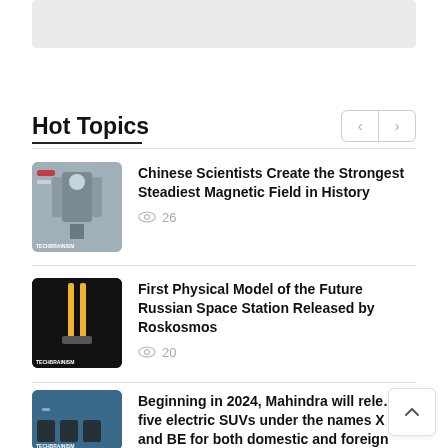[Figure (other): Gray banner/advertisement placeholder at top of page]
Hot Topics
Chinese Scientists Create the Strongest Steadiest Magnetic Field in History — 26 views
First Physical Model of the Future Russian Space Station Released by Roskosmos — 20 views
Beginning in 2024, Mahindra will release five electric SUVs under the names X and BE for both domestic and foreign